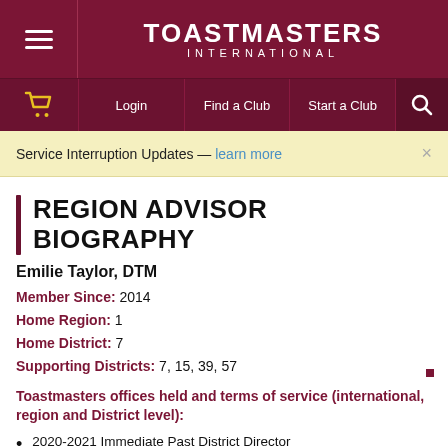TOASTMASTERS INTERNATIONAL
Login | Find a Club | Start a Club
Service Interruption Updates — learn more
REGION ADVISOR BIOGRAPHY
Emilie Taylor, DTM
Member Since: 2014
Home Region: 1
Home District: 7
Supporting Districts: 7, 15, 39, 57
Toastmasters offices held and terms of service (international, region and District level):
2020-2021 Immediate Past District Director
2019-2020 District Director
2018-2019 Program Quality Director
2017-2018 Club Growth Director